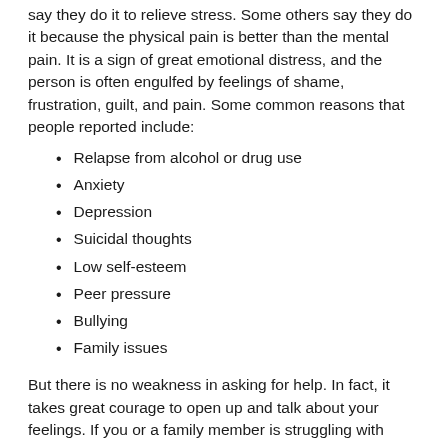say they do it to relieve stress. Some others say they do it because the physical pain is better than the mental pain. It is a sign of great emotional distress, and the person is often engulfed by feelings of shame, frustration, guilt, and pain. Some common reasons that people reported include:
Relapse from alcohol or drug use
Anxiety
Depression
Suicidal thoughts
Low self-esteem
Peer pressure
Bullying
Family issues
But there is no weakness in asking for help. In fact, it takes great courage to open up and talk about your feelings. If you or a family member is struggling with...